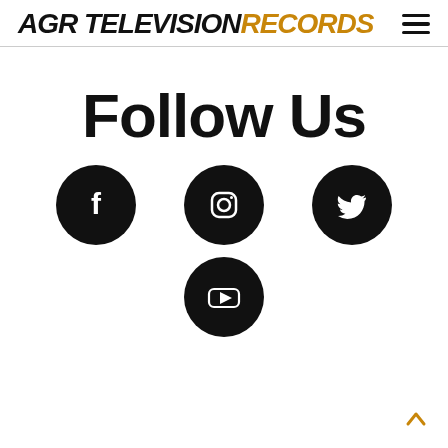AGR TELEVISION RECORDS
Follow Us
[Figure (infographic): Four social media icon circles (Facebook, Instagram, Twitter, YouTube) arranged in two rows on a white background, each icon is white on a black circle.]